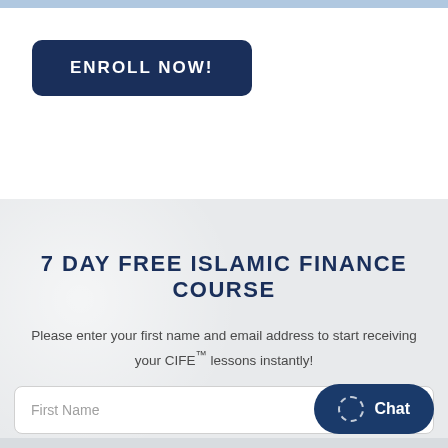[Figure (other): Light blue horizontal bar at the top of the page]
ENROLL NOW!
7 DAY FREE ISLAMIC FINANCE COURSE
Please enter your first name and email address to start receiving your CIFE™ lessons instantly!
First Name
Chat